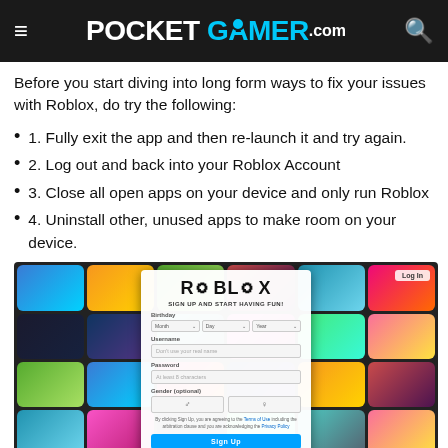POCKET GAMER.com
Before you start diving into long form ways to fix your issues with Roblox, do try the following:
1. Fully exit the app and then re-launch it and try again.
2. Log out and back into your Roblox Account
3. Close all open apps on your device and only run Roblox
4. Uninstall other, unused apps to make room on your device.
[Figure (screenshot): Roblox website signup page screenshot showing the Roblox logo, 'Sign Up and Start Having Fun!' form with Birthday, Username, Password, Gender fields and a Sign Up button, overlaid on a colorful grid of game tiles]